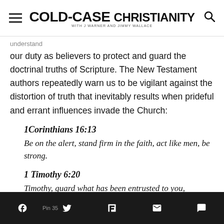COLD-CASE CHRISTIANITY WITH J WARNER AND JIMMY WALLACE
understand
our duty as believers to protect and guard the doctrinal truths of Scripture. The New Testament authors repeatedly warn us to be vigilant against the distortion of truth that inevitably results when prideful and errant influences invade the Church:
1Corinthians 16:13
Be on the alert, stand firm in the faith, act like men, be strong.
1 Timothy 6:20
Timothy, guard what has been entrusted to you, avoiding worldly and empty chatter and the opposing arguments of what is falsely called “knowledge”—
Social sharing icons: Facebook, Twitter, Flipboard, Email, Comment